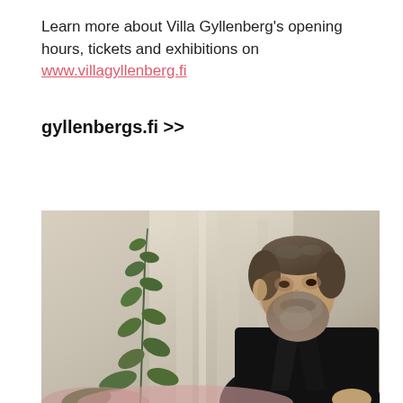Learn more about Villa Gyllenberg's opening hours, tickets and exhibitions on www.villagyllenberg.fi
gyllenbergs.fi >>
[Figure (photo): A classical oil painting detail showing a bearded man seated, wearing a dark jacket, with a plant with green leaves visible to the left, against a light grey/white textured background.]